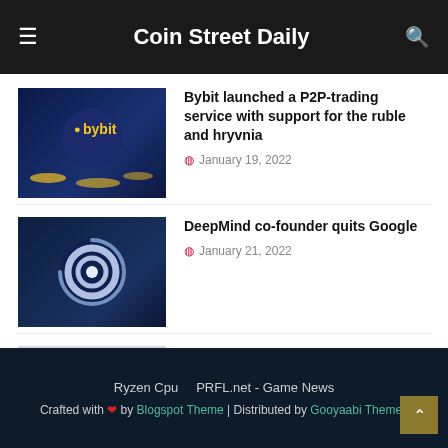Coin Street Daily
Bybit launched a P2P-trading service with support for the ruble and hryvnia
January 19, 2022
DeepMind co-founder quits Google
January 21, 2022
Puerto Rico will fight corruption with blockchain, says government official
December 08, 2021
Ryzen Cpu   PRFL.net - Game News   Crafted with ❤ by Blogspot Theme | Distributed by Gooyaabi Themes